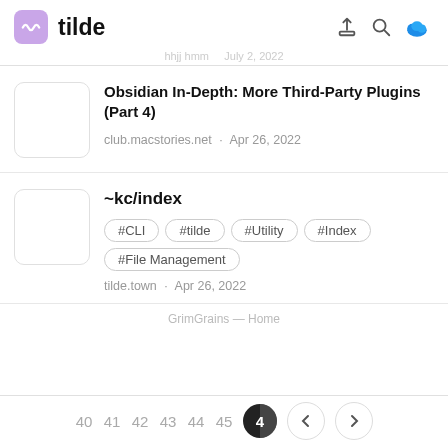tilde
Obsidian In-Depth: More Third-Party Plugins (Part 4)
club.macstories.net · Apr 26, 2022
~kc/index
#CLI
#tilde
#Utility
#Index
#File Management
tilde.town · Apr 26, 2022
40  41  42  43  44  45  4